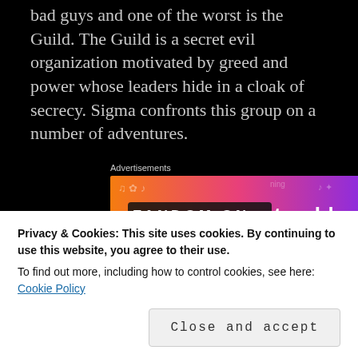bad guys and one of the worst is the Guild. The Guild is a secret evil organization motivated by greed and power whose leaders hide in a cloak of secrecy. Sigma confronts this group on a number of adventures.
[Figure (infographic): Tumblr 'Fandom on Tumblr' advertisement banner with orange-to-purple gradient background and decorative doodles. White bold text reads 'FANDOM ON tumblr'.]
The best part of reading the series is the development of the characters that make up the Sigma Force. The leader of the Sigma Force is
Privacy & Cookies: This site uses cookies. By continuing to use this website, you agree to their use.
To find out more, including how to control cookies, see here: Cookie Policy
is romantically involved with and eventually marries